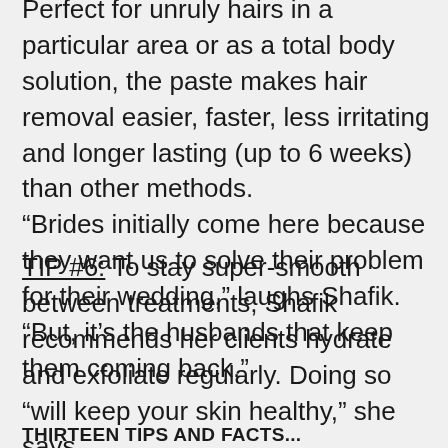Perfect for unruly hairs in a particular area or as a total body solution, the paste makes hair removal easier, faster, less irritating and longer lasting (up to 6 weeks) than other methods. “Brides initially come here because they want us to solve their problem for their wedding,” laughs Shafik. “But, it’s the husbands that keep them coming back.”
TIP #6: To stay super-smooth between treatments, Shafik recommends her clients hydrate and exfoliate regularly. Doing so “will keep your skin healthy,” she says.
THIRTEEN TIPS AND FACTS...